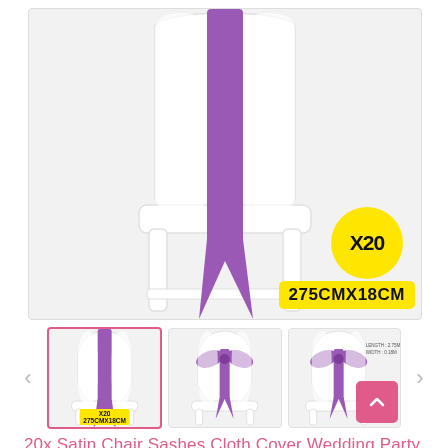[Figure (photo): Main product photo: white chair cover with purple satin sash tied in a bow, with yellow circular badge showing X20 and yellow rectangular badge showing 275CMX18CM]
[Figure (photo): Thumbnail 1 (selected, pink border): white chair with purple satin sash, small yellow badge X20 / 275CMX18CM]
[Figure (photo): Thumbnail 2: white chair with purple satin bow sash]
[Figure (photo): Thumbnail 3: white chair with purple satin bow, dimension label showing LENGTH: 2.75M, WIDTH: 0.18M]
20x Satin Chair Sashes Cloth Cover Wedding Party Event Decoration Table Runner